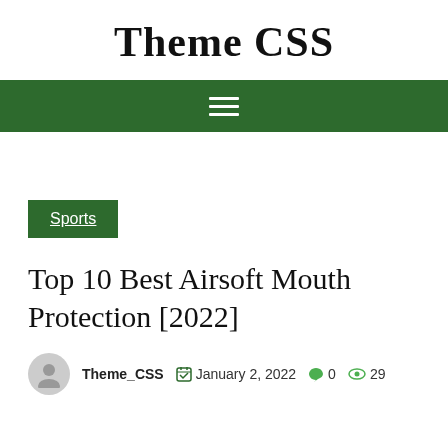Theme CSS
Navigation menu bar
Sports
Top 10 Best Airsoft Mouth Protection [2022]
Theme_CSS  January 2, 2022  0  29